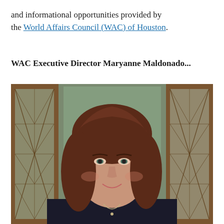and informational opportunities provided by the World Affairs Council (WAC) of Houston.
WAC Executive Director Maryanne Maldonado...
[Figure (photo): Photo of WAC Executive Director Maryanne Maldonado, a woman with shoulder-length brown/auburn hair, wearing a dark blazer and necklace, smiling, seated in front of a wooden glass-fronted cabinet with diamond-pane windows.]